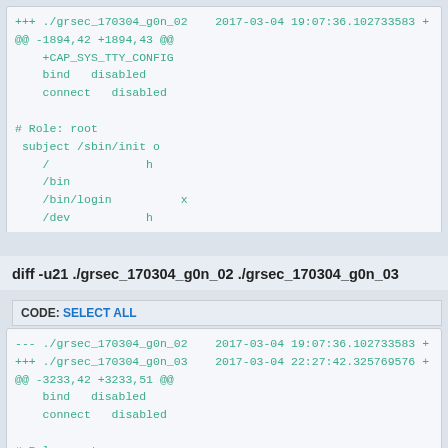+++ ./grsec_170304_g0n_02    2017-03-04 19:07:36.102733583 +
@@ -1894,42 +1894,43 @@
    +CAP_SYS_TTY_CONFIG
    bind   disabled
    connect   disabled

# Role: root
 subject /sbin/init o
    /              h
    /bin
    /bin/login          x
    /dev           h
diff -u21 ./grsec_170304_g0n_02 ./grsec_170304_g0n_03
CODE: SELECT ALL
--- ./grsec_170304_g0n_02    2017-03-04 19:07:36.102733583 +
+++ ./grsec_170304_g0n_03    2017-03-04 22:27:42.325769576 +
@@ -3233,42 +3233,51 @@
    bind   disabled
    connect   disabled

# Role: root
 subject /usr/bin/virsh ol
 user_transition_allow root qemu
 group_transition_allow root kvm libvirt qemu
    /              h